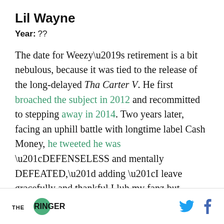Lil Wayne
Year: ??
The date for Weezy’s retirement is a bit nebulous, because it was tied to the release of the long-delayed Tha Carter V. He first broached the subject in 2012 and recommitted to stepping away in 2014. Two years later, facing an uphill battle with longtime label Cash Money, he tweeted he was “DEFENSELESS and mentally DEFEATED,” adding “I leave gracefully and thankful I luh my fanz but I’m dun.” It seemed as though it could be
THE RINGER